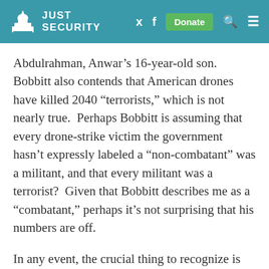JUST SECURITY
Abdulrahman, Anwar’s 16-year-old son. Bobbitt also contends that American drones have killed 2040 “terrorists,” which is not nearly true.  Perhaps Bobbitt is assuming that every drone-strike victim the government hasn’t expressly labeled a “non-combatant” was a militant, and that every militant was a terrorist?  Given that Bobbitt describes me as a “combatant,” perhaps it’s not surprising that his numbers are off.
In any event, the crucial thing to recognize is that the war Bobbitt has in his head has very